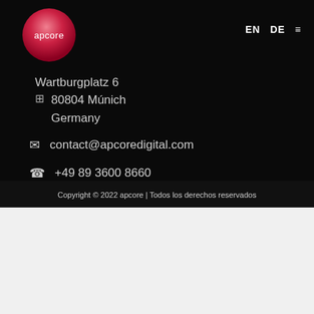[Figure (logo): apcore logo — circular gradient badge in pink/red with white text 'apcore']
EN   DE   ☰
Wartburgplatz 6
80804 Múnich
Germany
contact@apcoredigital.com
+49 89 3600 8660
Copyright © 2022 apcore | Todos los derechos reservados
Este sitio web utiliza cookies para mejorar tu experiencia de navegación. Si sigues navegando asumiremos que estás de acuerdo con nuestra Política de Privacidad y Política de Cookies
ACEPTAR